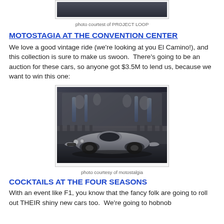[Figure (photo): Top portion of a photo visible at top of page, dark/moody interior scene]
photo courtest of PROJECT LOOP
MOTOSTAGIA AT THE CONVENTION CENTER
We love a good vintage ride (we're looking at you El Camino!), and this collection is sure to make us swoon.  There's going to be an auction for these cars, so anyone got $3.5M to lend us, because we want to win this one:
[Figure (photo): Vintage silver racing car photographed in front of an ornate baroque stone fountain with statues and cascading water]
photo courtesy of motostalgia
COCKTAILS AT THE FOUR SEASONS
With an event like F1, you know that the fancy folk are going to roll out THEIR shiny new cars too.  We're going to hobnob